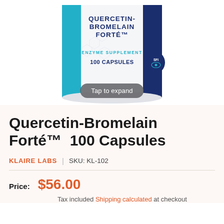[Figure (photo): Product photo of Quercetin-Bromelain Forté enzyme supplement bottle, 100 capsules, by Klaire Labs/SFI. Bottle is white with teal/blue label. Text on bottle: QUERCETIN-BROMELAIN FORTÉ, ENZYME SUPPLEMENT, 100 CAPSULES. SFI logo visible. A 'Tap to expand' overlay button appears on the image.]
Quercetin-Bromelain Forté™ 100 Capsules
KLAIRE LABS  |  SKU: KL-102
Price: $56.00
Tax included Shipping calculated at checkout